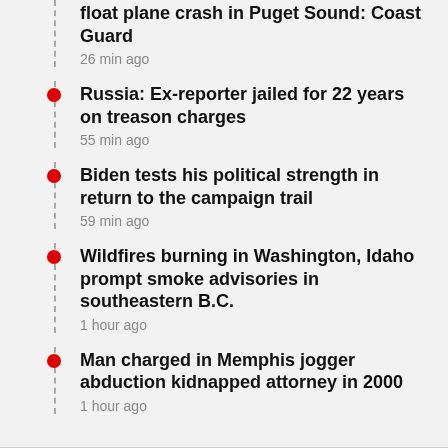float plane crash in Puget Sound: Coast Guard
26 min ago
Russia: Ex-reporter jailed for 22 years on treason charges
55 min ago
Biden tests his political strength in return to the campaign trail
59 min ago
Wildfires burning in Washington, Idaho prompt smoke advisories in southeastern B.C.
1 hour ago
Man charged in Memphis jogger abduction kidnapped attorney in 2000
1 hour ago